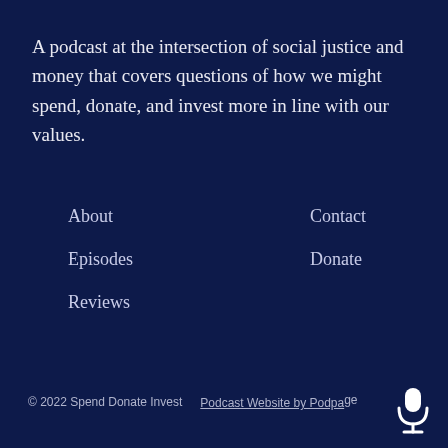A podcast at the intersection of social justice and money that covers questions of how we might spend, donate, and invest more in line with our values.
About
Episodes
Reviews
Contact
Donate
© 2022 Spend Donate Invest    Podcast Website by Podpa[ge]